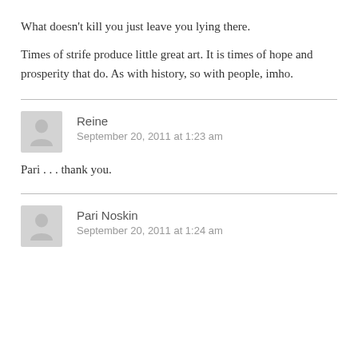What doesn't kill you just leave you lying there.
Times of strife produce little great art. It is times of hope and prosperity that do. As with history, so with people, imho.
Reine
September 20, 2011 at 1:23 am
Pari . . . thank you.
Pari Noskin
September 20, 2011 at 1:24 am